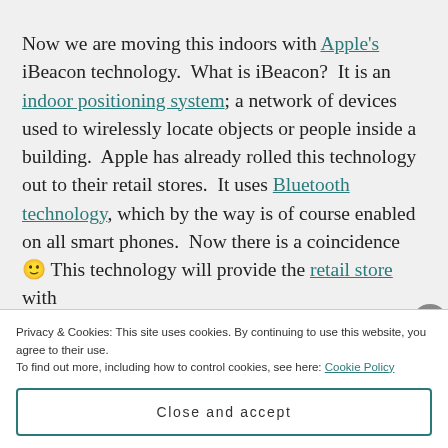Now we are moving this indoors with Apple's iBeacon technology.  What is iBeacon?  It is an indoor positioning system; a network of devices used to wirelessly locate objects or people inside a building.  Apple has already rolled this technology out to their retail stores.  It uses Bluetooth technology, which by the way is of course enabled on all smart phones.  Now there is a coincidence 🙂 This technology will provide the retail store with
Privacy & Cookies: This site uses cookies. By continuing to use this website, you agree to their use.
To find out more, including how to control cookies, see here: Cookie Policy
Close and accept